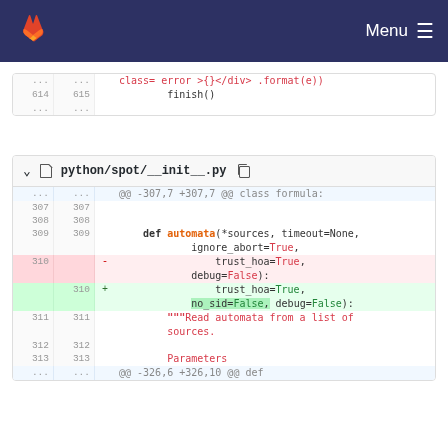Menu (GitLab navigation bar)
[Figure (screenshot): Code diff showing first section with lines 614-615 of a Python file, showing finish() call and ellipsis lines]
python/spot/__init__.py
[Figure (screenshot): Code diff for python/spot/__init__.py showing changes around def automata function parameter addition of no_sid=False]